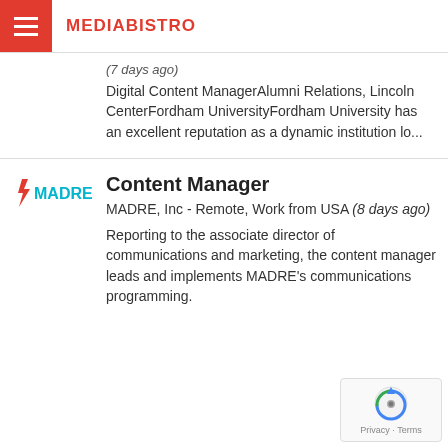MEDIABISTRO
(7 days ago) Digital Content ManagerAlumni Relations, Lincoln CenterFordham UniversityFordham University has an excellent reputation as a dynamic institution lo...
Content Manager
MADRE, Inc - Remote, Work from USA (8 days ago)
Reporting to the associate director of communications and marketing, the content manager leads and implements MADRE's communications programming.